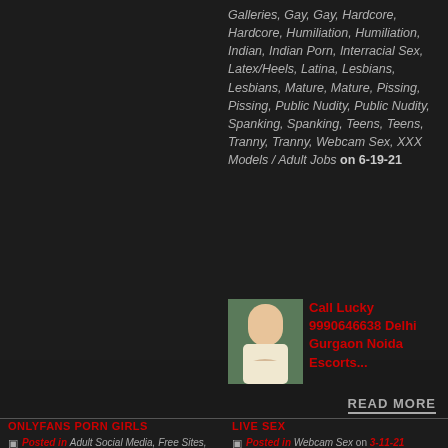Galleries, Gay, Gay, Hardcore, Hardcore, Humiliation, Humiliation, Indian, Indian Porn, Interracial Sex, Latex/Heels, Latina, Lesbians, Lesbians, Mature, Mature, Pissing, Pissing, Public Nudity, Public Nudity, Spanking, Spanking, Teens, Teens, Tranny, Tranny, Webcam Sex, XXX Models / Adult Jobs on 6-19-21
[Figure (photo): Woman in white floral dress smiling outdoors]
Call Lucky 9990646638 Delhi Gurgaon Noida Escorts...
READ MORE
ONLYFANS PORN GIRLS
LIVE SEX
Posted in Adult Social Media, Free Sites, Webcam Sex, XXX Models / Adult Jobs on 5-14-21
Posted in Webcam Sex on 3-11-21
[Figure (photo): Thumbnail image - partial view]
The public nudity tube Free promotion
[Figure (photo): Thumbnail image - woman]
Naked girls show sex on cams